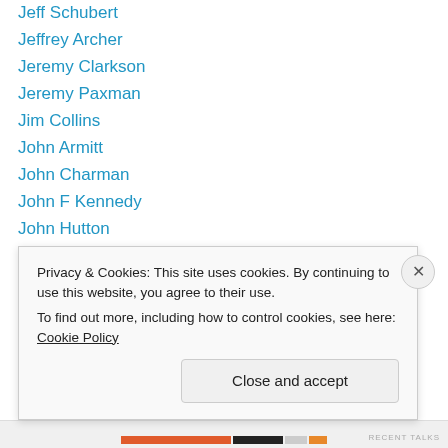Jeff Schubert
Jeffrey Archer
Jeremy Clarkson
Jeremy Paxman
Jim Collins
John Armitt
John Charman
John F Kennedy
John Hutton
John Peace
John Reid
Jon Cruddas
Jonathon Warburton
Privacy & Cookies: This site uses cookies. By continuing to use this website, you agree to their use.
To find out more, including how to control cookies, see here: Cookie Policy
RECENT TALKS